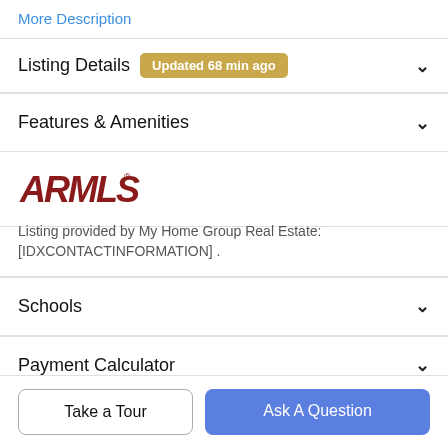More Description
Listing Details
Updated 68 min ago
Features & Amenities
[Figure (logo): ARMLS logo in dark red bold styled text]
Listing provided by My Home Group Real Estate: [IDXCONTACTINFORMATION] .
Schools
Payment Calculator
Take a Tour
Ask A Question